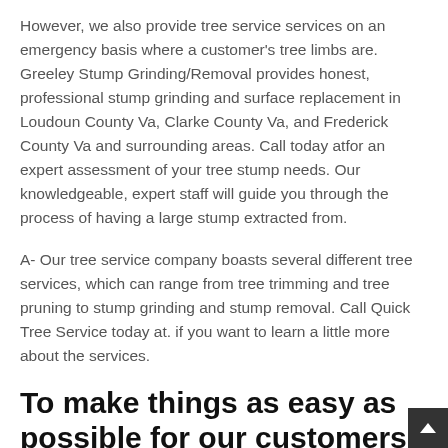However, we also provide tree service services on an emergency basis where a customer's tree limbs are. Greeley Stump Grinding/Removal provides honest, professional stump grinding and surface replacement in Loudoun County Va, Clarke County Va, and Frederick County Va and surrounding areas. Call today atfor an expert assessment of your tree stump needs. Our knowledgeable, expert staff will guide you through the process of having a large stump extracted from.
A- Our tree service company boasts several different tree services, which can range from tree trimming and tree pruning to stump grinding and stump removal. Call Quick Tree Service today at. if you want to learn a little more about the services.
To make things as easy as possible for our customers, we provide tree removal.
12 reviews of Northern Virginia Tree Experts"Outstanding Service. We recently used Northern Virginia Tree Experts for